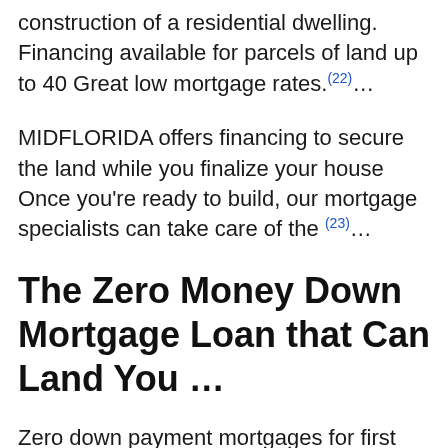construction of a residential dwelling. Financing available for parcels of land up to 40 Great low mortgage rates.(22)…
MIDFLORIDA offers financing to secure the land while you finalize your house Once you're ready to build, our mortgage specialists can take care of the (23)…
The Zero Money Down Mortgage Loan that Can Land You …
Zero down payment mortgages for first time home buyers do exist. Learn about